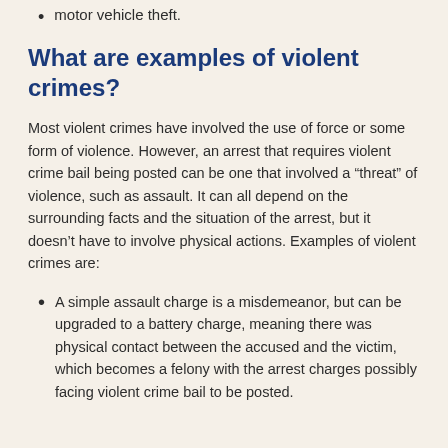motor vehicle theft.
What are examples of violent crimes?
Most violent crimes have involved the use of force or some form of violence. However, an arrest that requires violent crime bail being posted can be one that involved a “threat” of violence, such as assault. It can all depend on the surrounding facts and the situation of the arrest, but it doesn’t have to involve physical actions. Examples of violent crimes are:
A simple assault charge is a misdemeanor, but can be upgraded to a battery charge, meaning there was physical contact between the accused and the victim, which becomes a felony with the arrest charges possibly facing violent crime bail to be posted.